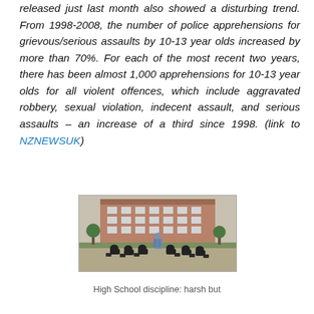released just last month also showed a disturbing trend. From 1998-2008, the number of police apprehensions for grievous/serious assaults by 10-13 year olds increased by more than 70%. For each of the most recent two years, there has been almost 1,000 apprehensions for 10-13 year olds for all violent offences, which include aggravated robbery, sexual violation, indecent assault, and serious assaults – an increase of a third since 1998. (link to NZNEWSUK)
[Figure (photo): Students in dark uniforms bowing low to the ground outdoors in front of a large school building, with one person in blue standing over them — depicting high school discipline]
High School discipline: harsh but